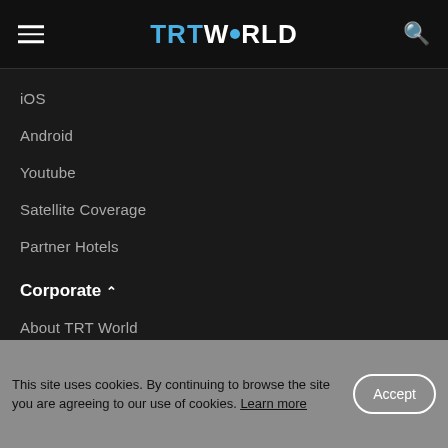TRT WORLD
iOS
Android
Youtube
Satellite Coverage
Partner Hotels
Corporate
About TRT World
Jobs
Press Releases
This site uses cookies. By continuing to browse the site you are agreeing to our use of cookies. Learn more